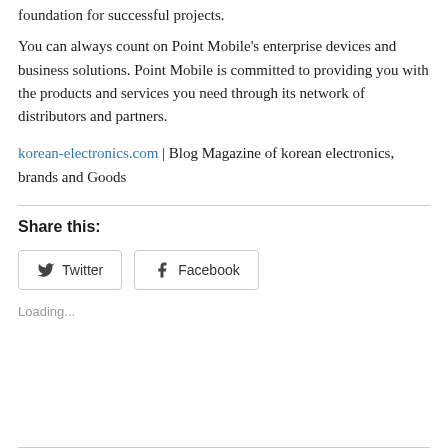foundation for successful projects.
You can always count on Point Mobile's enterprise devices and business solutions. Point Mobile is committed to providing you with the products and services you need through its network of distributors and partners.
korean-electronics.com | Blog Magazine of korean electronics, brands and Goods
Share this:
[Figure (other): Twitter and Facebook share buttons]
Loading...